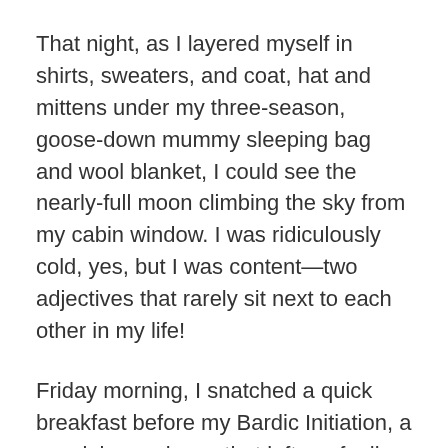That night, as I layered myself in shirts, sweaters, and coat, hat and mittens under my three-season, goose-down mummy sleeping bag and wool blanket, I could see the nearly-full moon climbing the sky from my cabin window. I was ridiculously cold, yes, but I was content—two adjectives that rarely sit next to each other in my life!
Friday morning, I snatched a quick breakfast before my Bardic Initiation, a special experience that left me feeling, in many ways, reborn and even more deeply connected to the other bardic initiates. Following the initiations, Cindy Bertsch led an elemental ritual for peace.
After lunch, I basked in the sun with my cabin mates, feeling warm for the first time since arriving at